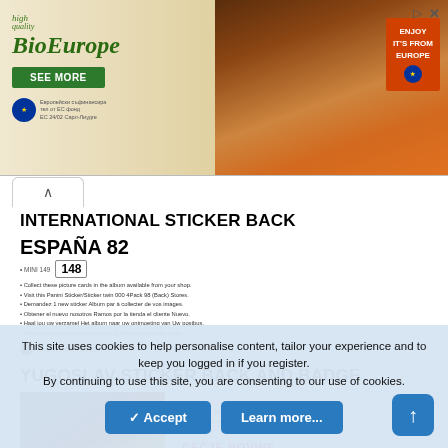[Figure (photo): BioEurope advertisement banner with green branding, meat photo, and EU logo]
INTERNATIONAL STICKER BACK
[Figure (photo): Panini España 82 sticker back showing sticker number 148 with multilingual instructions and Figurine Panini logo]
YUGOSLAV STICKER BACK AND BADGE
[Figure (photo): Two photos: left shows a Yugoslav España 82 sticker with badge, right shows the back text in Serbian with DEČJE NOVINE branding in red]
This site uses cookies to help personalise content, tailor your experience and to keep you logged in if you register.
By continuing to use this site, you are consenting to our use of cookies.
✓ Accept   Learn more...